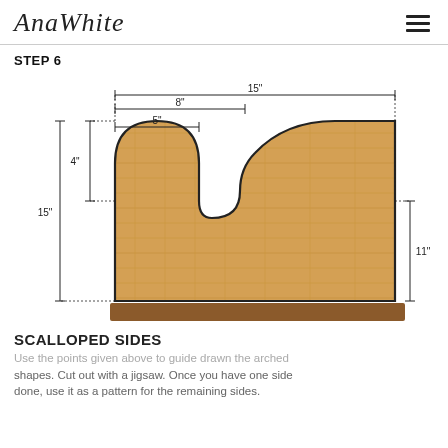AnaWhite
STEP 6
[Figure (engineering-diagram): Scalloped side panel diagram showing dimensions: 15" total width, 8" inner measurement, 5" inner measurement, 4" top arch height, 15" total height, 11" right side height. The shape is an OSB/plywood piece with a large arch on the left side and a small arch cutout in the middle, resting on a wood base.]
SCALLOPED SIDES
Use the points given above to guide drawn the arched shapes. Cut out with a jigsaw. Once you have one side done, use it as a pattern for the remaining sides.